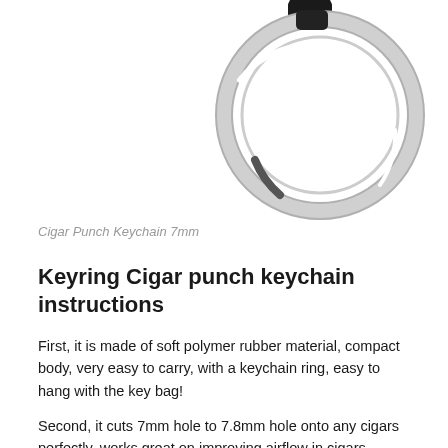[Figure (photo): A chrome/silver keychain ring with a black cigar punch cutter attached, viewed from above on a white background. The metal split ring is prominent and shiny.]
Cigar Punch Keychain 7mm
Keyring Cigar punch keychain instructions
First, it is made of soft polymer rubber material, compact body, very easy to carry, with a keychain ring, easy to hang with the key bag!
Second, it cuts 7mm hole to 7.8mm hole onto any cigars perfectly, works great on improving airflow in cigars.